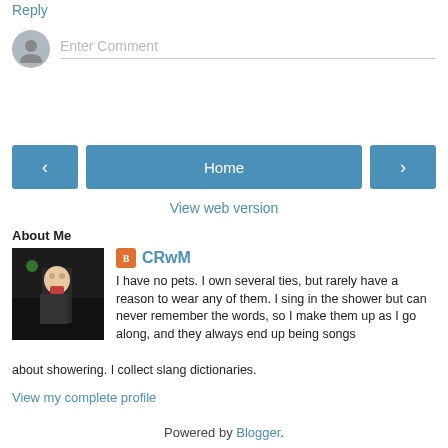Reply
[Figure (other): Comment input field with user avatar placeholder showing 'Enter Comment' placeholder text]
[Figure (other): Navigation buttons: left arrow, Home (center), right arrow]
View web version
About Me
[Figure (photo): Profile photo of person wearing clown makeup at night in a city street]
CRwM
I have no pets. I own several ties, but rarely have a reason to wear any of them. I sing in the shower but can never remember the words, so I make them up as I go along, and they always end up being songs about showering. I collect slang dictionaries.
View my complete profile
Powered by Blogger.